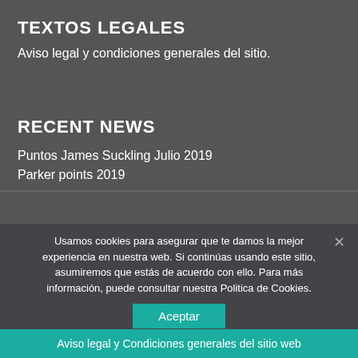TEXTOS LEGALES
Aviso legal y condiciones generales del sitio.
RECENT NEWS
Puntos James Suckling Julio 2019
Parker points 2019
Usamos cookies para asegurar que te damos la mejor experiencia en nuestra web. Si continúas usando este sitio, asumiremos que estás de acuerdo con ello. Para más información, puede consultar nuestra Politica de Cookies.
Aceptar
Aviso legal y Condiciones generales del sitio web